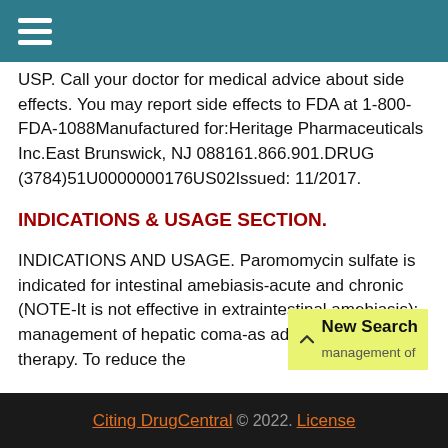[Navigation menu bar with hamburger icon]
USP. Call your doctor for medical advice about side effects. You may report side effects to FDA at 1-800-FDA-1088Manufactured for:Heritage Pharmaceuticals Inc.East Brunswick, NJ 088161.866.901.DRUG (3784)51U0000000176US02Issued: 11/2017.
INDICATIONS & USAGE SECTION.
INDICATIONS AND USAGE. Paromomycin sulfate is indicated for intestinal amebiasis-acute and chronic (NOTE-It is not effective in extraintestinal amebiasis); management of hepatic coma-as adjunctive therapy. To reduce the
Citing DrugCentral © 2022. License